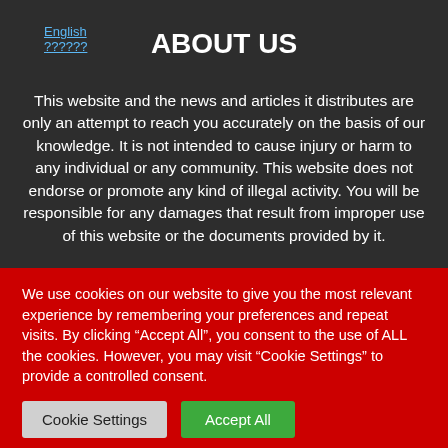English ??????
ABOUT US
This website and the news and articles it distributes are only an attempt to reach you accurately on the basis of our knowledge. It is not intended to cause injury or harm to any individual or any community. This website does not endorse or promote any kind of illegal activity. You will be responsible for any damages that result from improper use of this website or the documents provided by it.
We use cookies on our website to give you the most relevant experience by remembering your preferences and repeat visits. By clicking “Accept All”, you consent to the use of ALL the cookies. However, you may visit "Cookie Settings" to provide a controlled consent.
Cookie Settings  Accept All